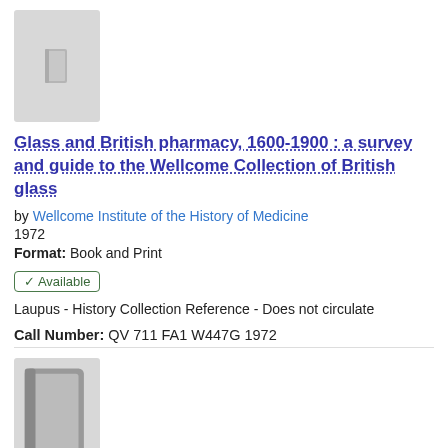[Figure (illustration): Book thumbnail placeholder image with gray background and book icon]
Glass and British pharmacy, 1600-1900 : a survey and guide to the Wellcome Collection of British glass
by Wellcome Institute of the History of Medicine
1972
Format: Book and Print
✔ Available   Laupus - History Collection Reference - Does not circulate
Call Number: QV 711 FA1 W447G 1972
[Figure (illustration): Book thumbnail placeholder image with gray background and book icon]
Recommendations concerning the dental curriculum